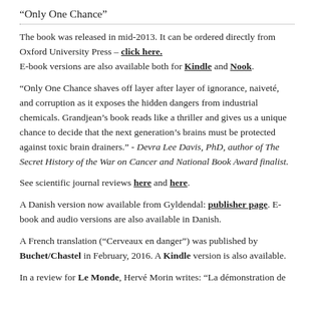“Only One Chance”
The book was released in mid-2013. It can be ordered directly from Oxford University Press – click here. E-book versions are also available both for Kindle and Nook.
"Only One Chance shaves off layer after layer of ignorance, naiveté, and corruption as it exposes the hidden dangers from industrial chemicals. Grandjean's book reads like a thriller and gives us a unique chance to decide that the next generation's brains must be protected against toxic brain drainers." - Devra Lee Davis, PhD, author of The Secret History of the War on Cancer and National Book Award finalist.
See scientific journal reviews here and here.
A Danish version now available from Gyldendal: publisher page. E-book and audio versions are also available in Danish.
A French translation (“Cerveaux en danger”) was published by Buchet/Chastel in February, 2016. A Kindle version is also available.
In a review for Le Monde, Hervé Morin writes: "La démonstration de